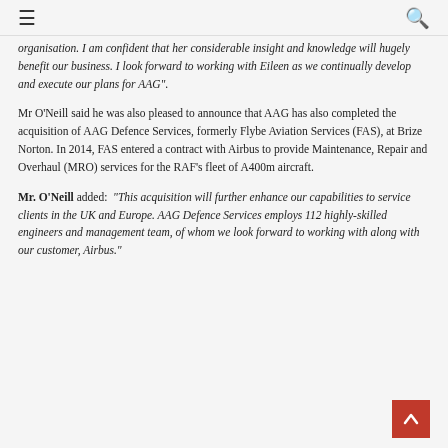☰  🔍
organisation. I am confident that her considerable insight and knowledge will hugely benefit our business. I look forward to working with Eileen as we continually develop and execute our plans for AAG".
Mr O'Neill said he was also pleased to announce that AAG has also completed the acquisition of AAG Defence Services, formerly Flybe Aviation Services (FAS), at Brize Norton. In 2014, FAS entered a contract with Airbus to provide Maintenance, Repair and Overhaul (MRO) services for the RAF's fleet of A400m aircraft.
Mr. O'Neill added: “This acquisition will further enhance our capabilities to service clients in the UK and Europe. AAG Defence Services employs 112 highly-skilled engineers and management team, of whom we look forward to working with along with our customer, Airbus.”